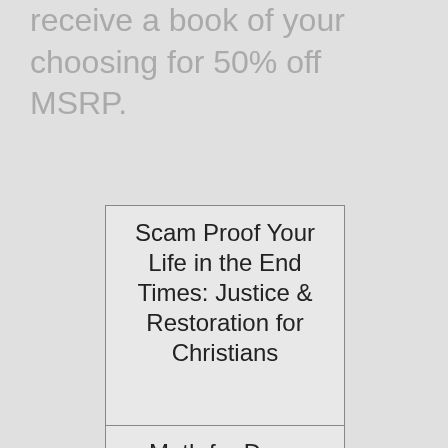receive a book of your choosing for 50% off MSRP.
| Scam Proof Your Life in the End Times: Justice & Restoration for Christians |
| Math for Deep Learning: What You Need to Know to |